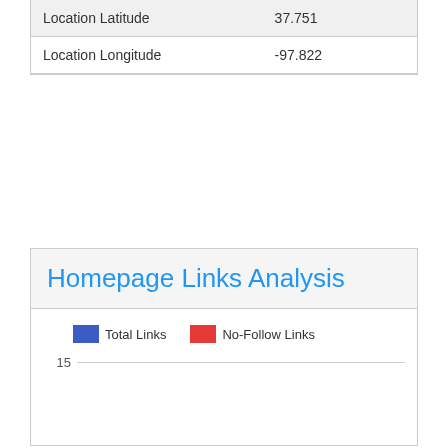|  |  |
| --- | --- |
| Location Latitude | 37.751 |
| Location Longitude | -97.822 |
Homepage Links Analysis
[Figure (other): Legend and partial chart area for Homepage Links Analysis showing Total Links (blue) and No-Follow Links (red) with a y-axis value of 15 visible]